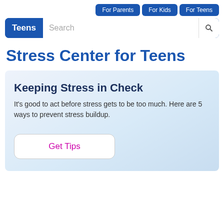For Parents | For Kids | For Teens
Teens  Search
Stress Center for Teens
Keeping Stress in Check
It's good to act before stress gets to be too much. Here are 5 ways to prevent stress buildup.
Get Tips